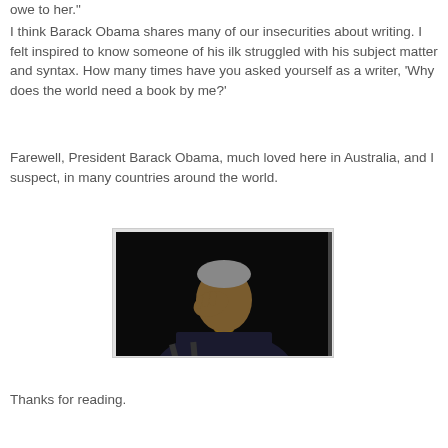owe to her."
I think Barack Obama shares many of our insecurities about writing. I felt inspired to know someone of his ilk struggled with his subject matter and syntax. How many times have you asked yourself as a writer, 'Why does the world need a book by me?'
Farewell, President Barack Obama, much loved here in Australia, and I suspect, in many countries around the world.
[Figure (photo): Photo of Barack Obama at a podium with his hand raised to his face, appearing emotional, against a dark background with microphones visible]
Thanks for reading.